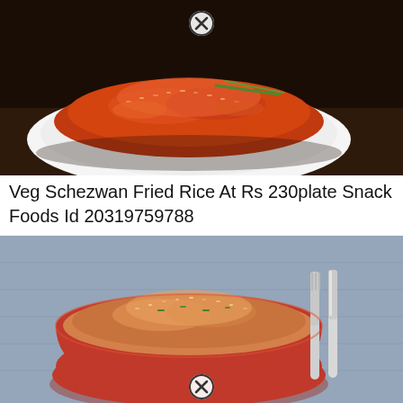[Figure (photo): Photo of Veg Schezwan Fried Rice served in a white oval bowl, red-orange colored rice with green garnish, close-up shot on dark background. A close button (X) icon visible at top center.]
Veg Schezwan Fried Rice At Rs 230plate Snack Foods Id 20319759788
[Figure (photo): Photo of fried rice served in a red bowl placed on a blue/grey cloth, with fork and knife visible on the right side. A close button (X) icon visible at bottom center.]